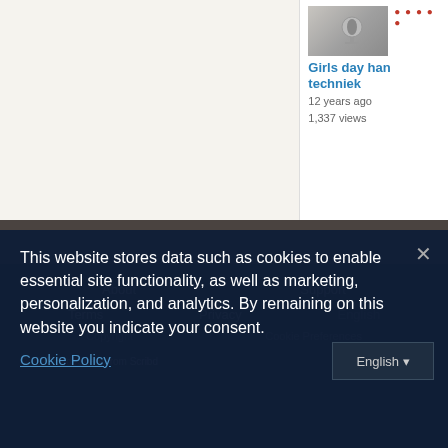[Figure (screenshot): Main content area with light beige/cream background, partially visible slide or document page]
[Figure (screenshot): Sidebar card showing Girls day han techniek with thumbnail, 12 years ago, 1,337 views]
Girls day han techniek
12 years ago
1,337 views
About
Support
Terms
Privacy
Cookie Policy
This website stores data such as cookies to enable essential site functionality, as well as marketing, personalization, and analytics. By remaining on this website you indicate your consent.
Cookie Policy
© 2025 SlideShare from Scribd